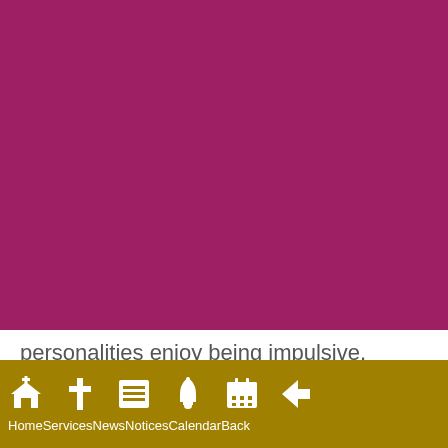[Figure (other): Large solid magenta/dark pink rectangle filling the upper portion of the page]
personalities enjoy being impulsive, creative in the moment, responding to those
Home Services News Notices Calendar Back